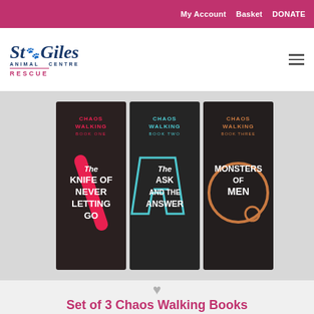My Account   Basket   DONATE
[Figure (logo): St Giles Animal Centre Rescue logo with paw print icon]
[Figure (photo): Three Chaos Walking book set: Book One - The Knife of Never Letting Go, Book Two - The Ask and the Answer, Book Three - Monsters of Men. Dark/black spine covers with coloured title typography.]
Set of 3 Chaos Walking Books